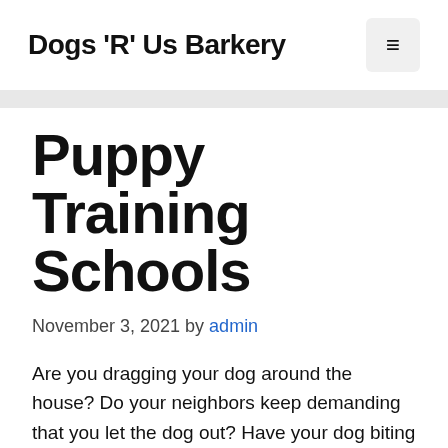Dogs 'R' Us Barkery
Puppy Training Schools
November 3, 2021 by admin
Are you dragging your dog around the house? Do your neighbors keep demanding that you let the dog out? Have your dog biting everyone as well as digging up your backyard? Do they seem to be a bit